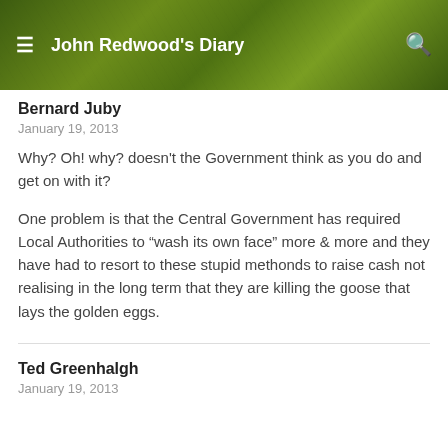John Redwood's Diary
Bernard Juby
January 19, 2013
Why? Oh! why? doesn't the Government think as you do and get on with it?
One problem is that the Central Government has required Local Authorities to “wash its own face” more & more and they have had to resort to these stupid methonds to raise cash not realising in the long term that they are killing the goose that lays the golden eggs.
Ted Greenhalgh
January 19, 2013